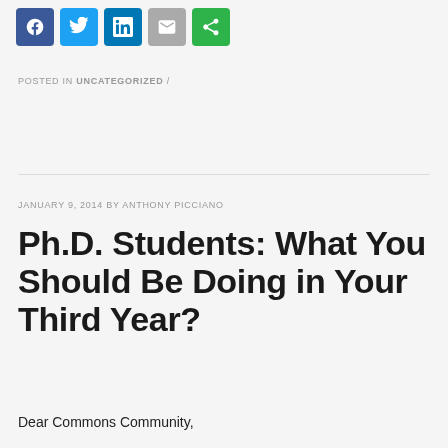[Figure (other): Social media share icons: Facebook (blue), Twitter (blue), LinkedIn (blue), Email (gray), Share (green)]
POSTED IN UNCATEGORIZED /
JANUARY 9, 2014 BY ANTHONY PICCIANO
Ph.D. Students: What You Should Be Doing in Your Third Year?
Dear Commons Community,